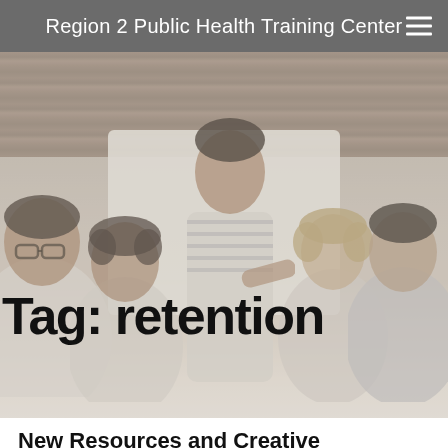Region 2 Public Health Training Center
[Figure (photo): Group of diverse professionals seated around a conference table in a meeting, with one person standing and pointing at a whiteboard. Wood panel wall visible in background. Image has a faded/muted color treatment.]
Tag: retention
New Resources and Creative Strategies for Recruiting Candidates